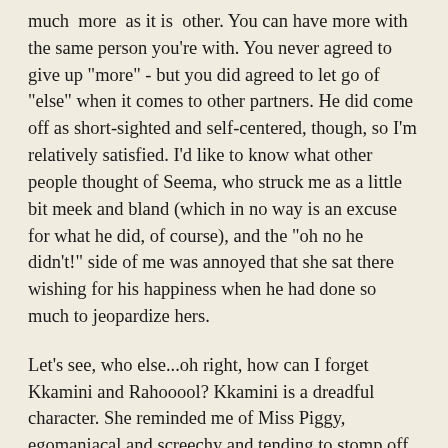much more as it is other. You can have more with the same person you're with. You never agreed to give up "more" - but you did agreed to let go of "else" when it comes to other partners. He did come off as short-sighted and self-centered, though, so I'm relatively satisfied. I'd like to know what other people thought of Seema, who struck me as a little bit meek and bland (which in no way is an excuse for what he did, of course), and the "oh no he didn't!" side of me was annoyed that she sat there wishing for his happiness when he had done so much to jeopardize hers.
Let's see, who else...oh right, how can I forget Kkamini and Rahooool? Kkamini is a dreadful character. She reminded me of Miss Piggy, egomaniacal and screechy and tending to stomp off in a huff. I also don't understand why she can't be with Rahul and do the KJo film, even if that isn't tradition, but whatevs.